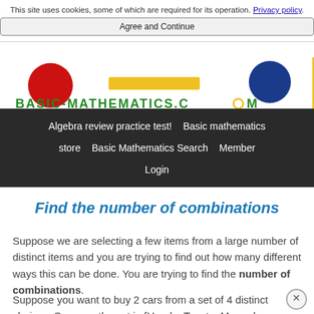This site uses cookies, some of which are required for its operation. Privacy policy.
Agree and Continue
[Figure (logo): Basic-Mathematics.com logo with red and blue graduation cap icons and green text]
Algebra review practice test! | Basic mathematics store | Basic Mathematics Search | Member Login
Find the number of combinations
Suppose we are selecting a few items from a large number of distinct items and you are trying to find out how many different ways this can be done. You are trying to find the number of combinations.
Suppose you want to buy 2 cars from a set of 4 distinct choices. Suppose the set is {Honda, Toyota, Mercedes, BMW}